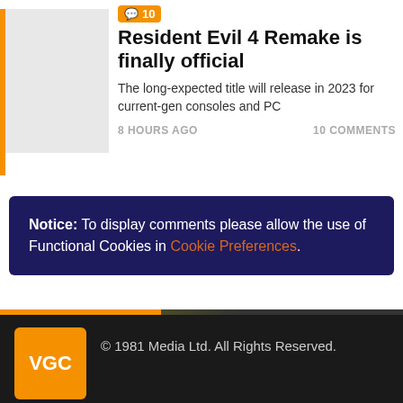Resident Evil 4 Remake is finally official
The long-expected title will release in 2023 for current-gen consoles and PC
8 HOURS AGO    10 COMMENTS
Notice: To display comments please allow the use of Functional Cookies in Cookie Preferences.
© 1981 Media Ltd. All Rights Reserved.
No part of this site or its content may be reproduced without the permission of the copyright holder.
HELPFUL LINKS